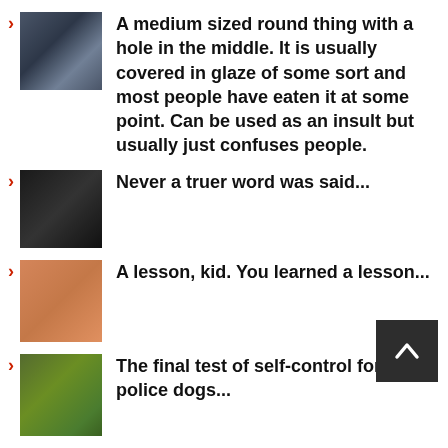A medium sized round thing with a hole in the middle. It is usually covered in glaze of some sort and most people have eaten it at some point. Can be used as an insult but usually just confuses people.
Never a truer word was said...
A lesson, kid. You learned a lesson...
The final test of self-control for police dogs...
I've been honking for the last 19 years...